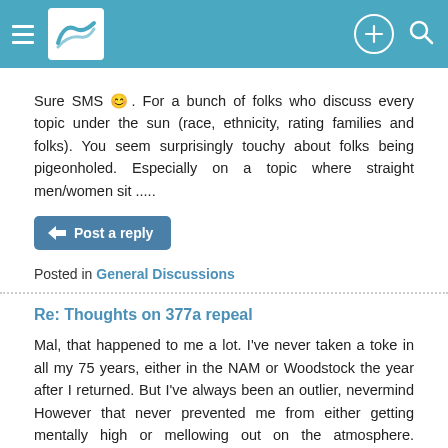Navigation header bar with menu, logo, profile and search icons
Sure SMS 😊. For a bunch of folks who discuss every topic under the sun (race, ethnicity, rating families and folks). You seem surprisingly touchy about folks being pigeonholed. Especially on a topic where straight men/women sit .....
Post a reply
Posted in General Discussions
Re: Thoughts on 377a repeal
Mal, that happened to me a lot. I've never taken a toke in all my 75 years, either in the NAM or Woodstock the year after I returned. But I've always been an outlier, nevermind However that never prevented me from either getting mentally high or mellowing out on the atmosphere. Probably the most .....
Post a reply